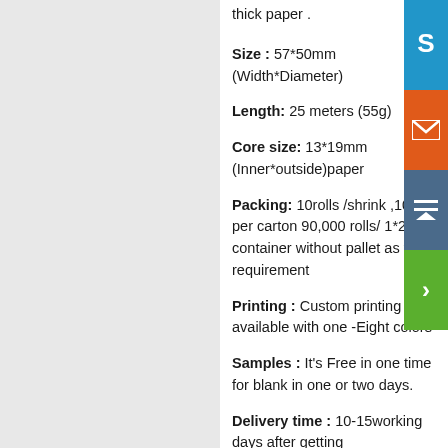thick paper .
Size : 57*50mm (Width*Diameter)
Length: 25 meters (55g)
Core size: 13*19mm (Inner*outside)paper
Packing: 10rolls /shrink ,100rolls per carton 90,000 rolls/ 1*20ft container without pallet as your requirement
Printing : Custom printing is available with one -Eight colors
Samples : It's Free in one time for blank in one or two days.
Delivery time : 10-15working days after getting